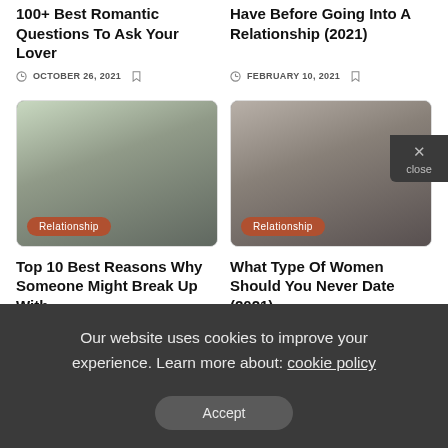100+ Best Romantic Questions To Ask Your Lover
Have Before Going Into A Relationship (2021)
OCTOBER 26, 2021
FEBRUARY 10, 2021
[Figure (illustration): Article card image with cartoon figure and Relationship badge]
[Figure (illustration): Article card image with female figure and Relationship badge]
Top 10 Best Reasons Why Someone Might Break Up With...
What Type Of Women Should You Never Date (2021)
Our website uses cookies to improve your experience. Learn more about: cookie policy
Accept